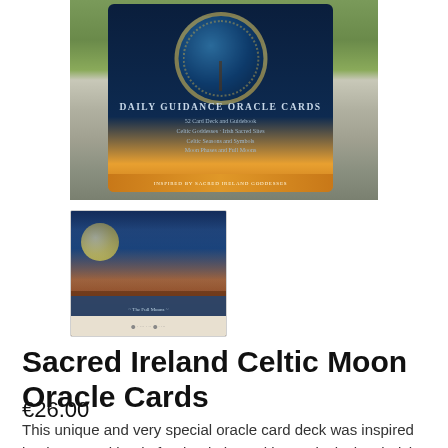[Figure (photo): Product images of Sacred Ireland Celtic Moon Oracle Cards — main image shows the front of the card deck box with Celtic knotwork circle design, dark blue background, and orange banner; below is a smaller thumbnail image showing a sample oracle card with a full moon over a desert/landscape scene.]
Sacred Ireland Celtic Moon Oracle Cards
€26.00
This unique and very special oracle card deck was inspired by the sacred land of Ireland, the Celtic Festivals, local Irish Goddesses and the names and phases of